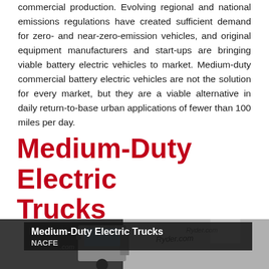commercial production. Evolving regional and national emissions regulations have created sufficient demand for zero- and near-zero-emission vehicles, and original equipment manufacturers and start-ups are bringing viable battery electric vehicles to market. Medium-duty commercial battery electric vehicles are not the solution for every market, but they are a viable alternative in daily return-to-base urban applications of fewer than 100 miles per day.
Medium-Duty Electric Trucks
[Figure (photo): Photo of medium-duty electric trucks showing a Ryder.com branded vehicle. A dark overlay caption bar reads 'Medium-Duty Electric Trucks' with 'NACFE' below it.]